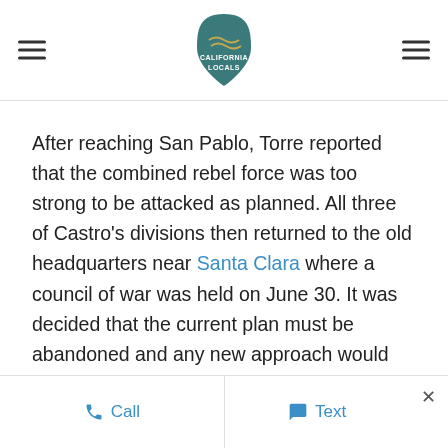California Locals (logo with hamburger menus)
After reaching San Pablo, Torre reported that the combined rebel force was too strong to be attacked as planned. All three of Castro's divisions then returned to the old headquarters near Santa Clara where a council of war was held on June 30. It was decided that the current plan must be abandoned and any new approach would require the cooperation of Pio Pico and his southern forces. A messenger was sent to the Governor. Meanwhile, the army moved southwards to San Juan where General Castro was, on July 6, when he learned of the events in Monterey.[64]
Call   Text   ×